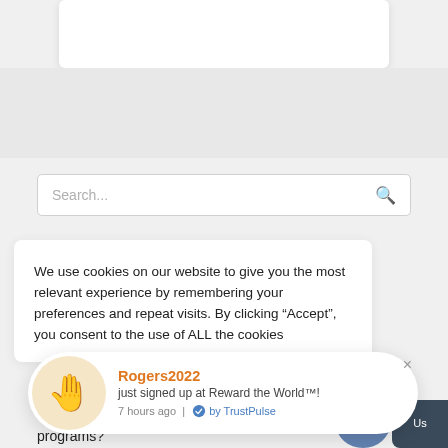[Figure (screenshot): Top white card strip partially visible at the top of the page]
Search...
We use cookies on our website to give you the most relevant experience by remembering your preferences and repeat visits. By clicking “Accept”, you consent to the use of ALL the cookies
[Figure (infographic): TrustPulse social proof notification popup showing Rogers2022 just signed up at Reward the World™!, 7 hours ago | by TrustPulse, with a waving hand emoji icon]
programs?